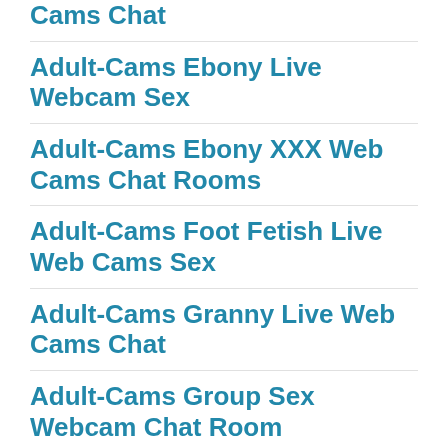Cams Chat
Adult-Cams Ebony Live Webcam Sex
Adult-Cams Ebony XXX Web Cams Chat Rooms
Adult-Cams Foot Fetish Live Web Cams Sex
Adult-Cams Granny Live Web Cams Chat
Adult-Cams Group Sex Webcam Chat Room
Adult-Cams Hairy Pussy Live Webcam Sex